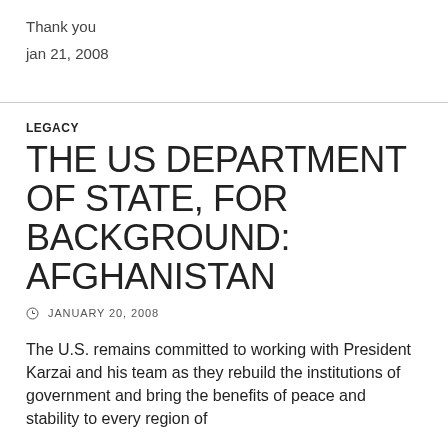Thank you
jan 21, 2008
LEGACY
THE US DEPARTMENT OF STATE, FOR BACKGROUND: AFGHANISTAN
JANUARY 20, 2008
The U.S. remains committed to working with President Karzai and his team as they rebuild the institutions of government and bring the benefits of peace and stability to every region of